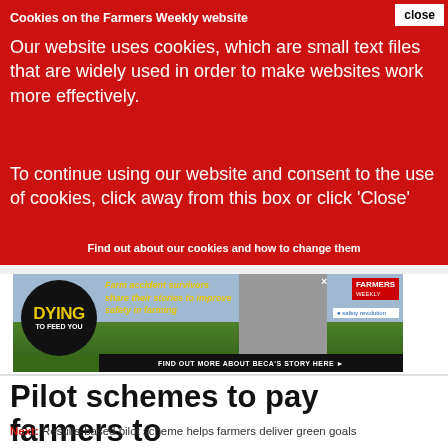Cookies on the Farmers Weekly website
Our website uses cookies, which are small text files that are widely used in order to make websites work more effectively.
To continue using our website and consent to the use of cookies, click away from this box or click 'Close'
Find out about our cookies and how to change them
[Figure (photo): Advertisement banner for Farmers Weekly 'Dying to Feed You' campaign featuring farm accident survivors, with Safety Revolution logo and a photo of a woman. CTA: FIND OUT MORE ABOUT BECA'S STORY HERE]
Pilot schemes to pay farmers to
Next: Results-based pilot scheme helps farmers deliver green goals